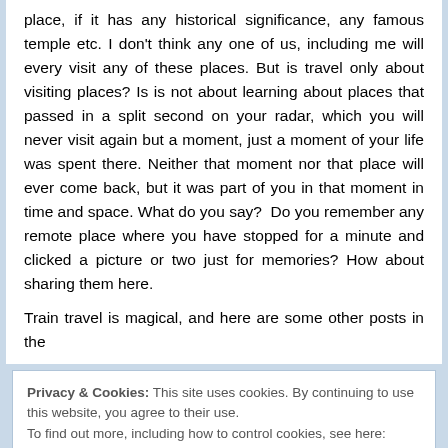place, if it has any historical significance, any famous temple etc. I don't think any one of us, including me will every visit any of these places. But is travel only about visiting places? Is is not about learning about places that passed in a split second on your radar, which you will never visit again but a moment, just a moment of your life was spent there. Neither that moment nor that place will ever come back, but it was part of you in that moment in time and space. What do you say?  Do you remember any remote place where you have stopped for a minute and clicked a picture or two just for memories? How about sharing them here.
Train travel is magical, and here are some other posts in the
Privacy & Cookies: This site uses cookies. By continuing to use this website, you agree to their use.
To find out more, including how to control cookies, see here: Cookie Policy
Close and accept